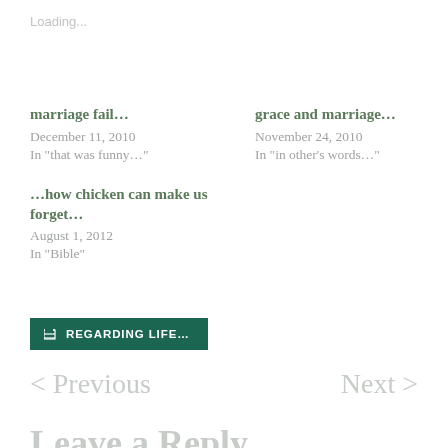Loading...
marriage fail...
December 11, 2010
In "that was funny..."
grace and marriage...
November 24, 2010
In "in other's words..."
...how chicken can make us forget...
August 1, 2012
In "Bible"
REGARDING LIFE...
< Previous
Next >
Leave a Reply